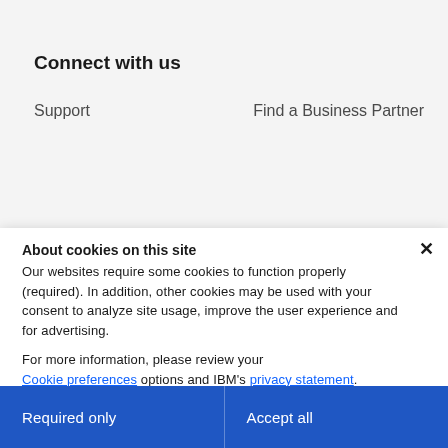Connect with us
Support                          Find a Business Partner
About IBM
About cookies on this site
Our websites require some cookies to function properly (required). In addition, other cookies may be used with your consent to analyze site usage, improve the user experience and for advertising.

For more information, please review your Cookie preferences options and IBM’s privacy statement.
Required only
Accept all